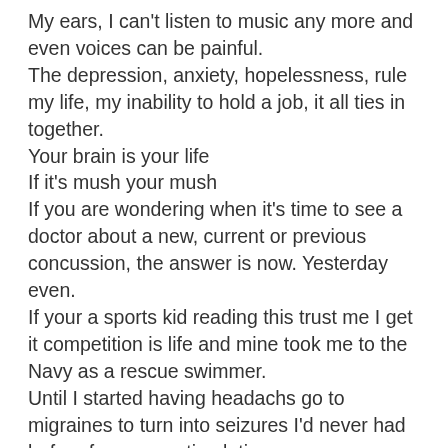My ears, I can't listen to music any more and even voices can be painful. The depression, anxiety, hopelessness, rule my life, my inability to hold a job, it all ties in together. Your brain is your life If it's mush your mush If you are wondering when it's time to see a doctor about a new, current or previous concussion, the answer is now. Yesterday even. If your a sports kid reading this trust me I get it competition is life and mine took me to the Navy as a rescue swimmer. Until I started having headachs go to migraines to turn into seizures I'd never had before from over stimulation. Journal out your symptoms every week if you can and show it to your doc. If your having memory trouble. When it comes time to talk to the doc,